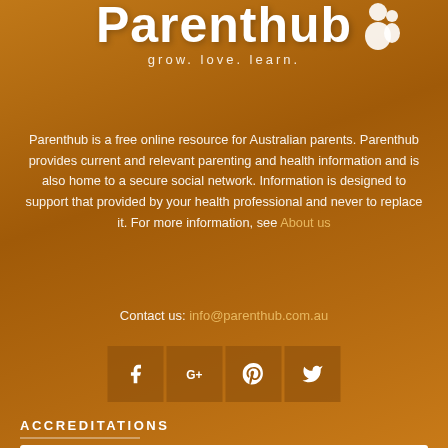[Figure (logo): Parenthub logo with text 'grow. love. learn.' and a family icon silhouette]
Parenthub is a free online resource for Australian parents. Parenthub provides current and relevant parenting and health information and is also home to a secure social network. Information is designed to support that provided by your health professional and never to replace it. For more information, see About us
Contact us: info@parenthub.com.au
[Figure (infographic): Four social media icon buttons: Facebook, Google+, Pinterest, Twitter]
ACCREDITATIONS
[Figure (logo): Accreditation badge with colored dots on white background]